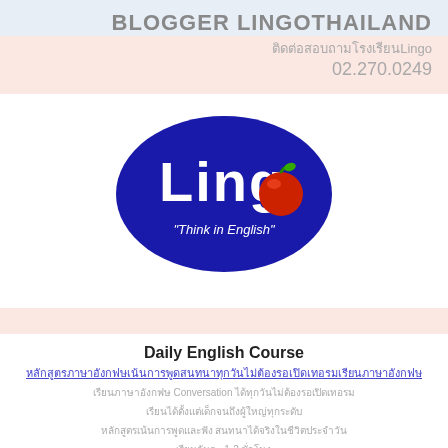BLOGGER LINGOTHAILAND
ติดต่อสอบถามโรงเรียนLingo 02.270.0249
[Figure (logo): Lingo school logo - dark blue speech bubble with white Lingo text and red apple, tagline Think in English]
Daily English Course
Thai link text for Daily English Course
เรียนภาษาอังกฤษ Conversation ได้ทุกวันไม่ต้องรอเปิดเทอม
เรียนได้ตั้งแต่เด็กจนถึงผู้ใหญ่ทุกระดับ
หลักสูตรเน้นการพูดและฟัง สนทนาได้จริงในชีวิตประจำวัน
เรียนวันละ 1-2 ชั่วโมง
มีทั้งคอร์สเด็ก คอร์สผู้ใหญ่ คอร์สธุรกิจ